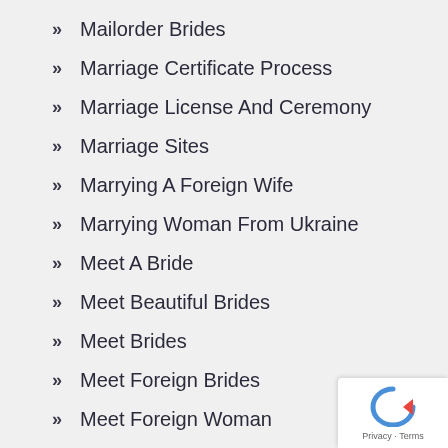Mailorder Brides
Marriage Certificate Process
Marriage License And Ceremony
Marriage Sites
Marrying A Foreign Wife
Marrying Woman From Ukraine
Meet A Bride
Meet Beautiful Brides
Meet Brides
Meet Foreign Brides
Meet Foreign Woman